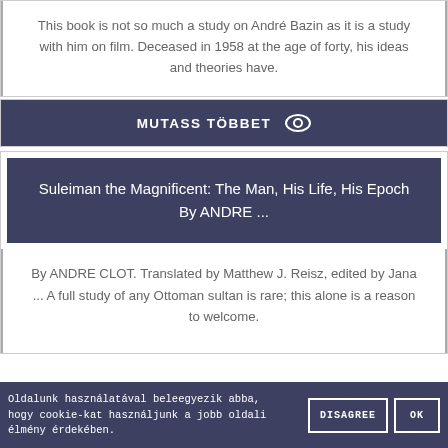This book is not so much a study on André Bazin as it is a study with him on film. Deceased in 1958 at the age of forty, his ideas and theories have.
MUTASS TÖBBET 👁
Suleiman the Magnificent: The Man, His Life, His Epoch By ANDRE ...
By ANDRE CLOT. Translated by Matthew J. Reisz, edited by Jana ... A full study of any Ottoman sultan is rare; this alone is a reason to welcome.
Oldalunk használatával beleegyezik abba, hogy cookie-kat használjunk a jobb oldali élmény érdekében.